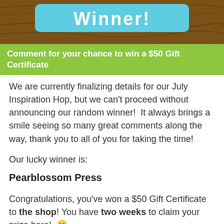[Figure (illustration): Decorative banner with wood grain background showing a teal/blue rounded box with large white bold text 'Winner!']
Comment for your chance to win a $50 Gift Certificate
We are currently finalizing details for our July Inspiration Hop, but we can't proceed without announcing our random winner!  It always brings a smile seeing so many great comments along the way, thank you to all of you for taking the time!
Our lucky winner is:
Pearblossom Press
Congratulations, you've won a $50 Gift Certificate to the shop! You have two weeks to claim your prize here!  🙂